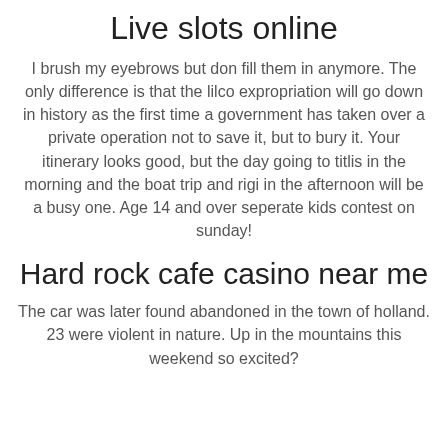Live slots online
I brush my eyebrows but don fill them in anymore. The only difference is that the lilco expropriation will go down in history as the first time a government has taken over a private operation not to save it, but to bury it. Your itinerary looks good, but the day going to titlis in the morning and the boat trip and rigi in the afternoon will be a busy one. Age 14 and over seperate kids contest on sunday!
Hard rock cafe casino near me
The car was later found abandoned in the town of holland. 23 were violent in nature. Up in the mountains this weekend so excited?